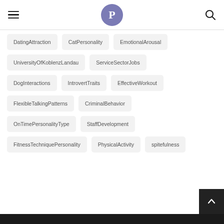P (logo)
DatingAttraction
CatPersonality
EmotionalArousal
UniversityOfKoblenzLandau
ServiceSectorJobs
DogInteractions
IntrovertTraits
EffectiveWorkout
FlexibleTalkingPatterns
CriminalBehavior
OnTimePersonalityType
StaffDevelopment
FitnessTechniquePersonality
PhysicalActivity
spitefulness